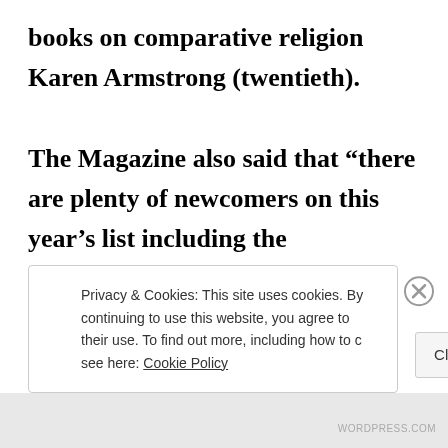books on comparative religion Karen Armstrong (twentieth).

The Magazine also said that “there are plenty of newcomers on this year’s list including the Archbishop of Canterbury Justin Welby, psychologist and author Daniel Goleman, physicist and
Privacy & Cookies: This site uses cookies. By continuing to use this website, you agree to their use. To find out more, including how to control cookies, see here: Cookie Policy